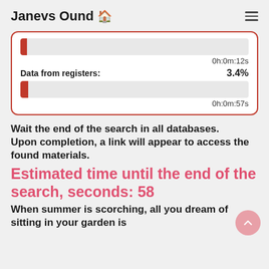Janevs Ound 🏠
[Figure (infographic): Progress card with red border showing two progress bars. First bar nearly empty with time 0h:0m:12s. Second bar shows 'Data from registers: 3.4%' with time 0h:0m:57s.]
Wait the end of the search in all databases.
Upon completion, a link will appear to access the found materials.
Estimated time until the end of the search, seconds: 58
When summer is scorching, all you dream of sitting in your garden is